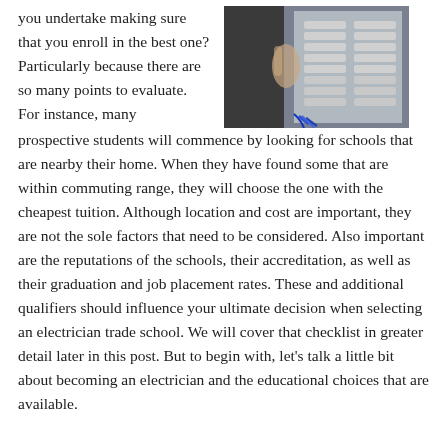you undertake making sure that you enroll in the best one? Particularly because there are so many points to evaluate. For instance, many prospective students will commence by looking for schools that are nearby their home. When they have found some that are within commuting range, they will choose the one with the cheapest tuition. Although location and cost are important, they are not the sole factors that need to be considered. Also important are the reputations of the schools, their accreditation, as well as their graduation and job placement rates. These and additional qualifiers should influence your ultimate decision when selecting an electrician trade school. We will cover that checklist in greater detail later in this post. But to begin with, let’s talk a little bit about becoming an electrician and the educational choices that are available.
[Figure (photo): Close-up photo of a person's hands working on an electrical panel or circuit breaker box with blue and black wires]